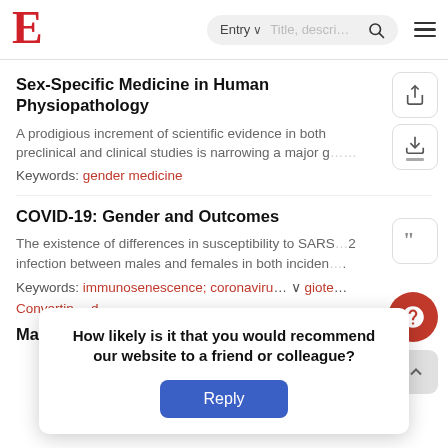E | Entry | Title, description search
Sex-Specific Medicine in Human Physiopathology
A prodigious increment of scientific evidence in both preclinical and clinical studies is narrowing a major g…
Keywords: gender medicine
COVID-19: Gender and Outcomes
The existence of differences in susceptibility to SARS…2 infection between males and females in both inciden….
Keywords: immunosenescence; coronaviru… ▾ giote… Converting… di…
Male Bre…
How likely is it that you would recommend our website to a friend or colleague?